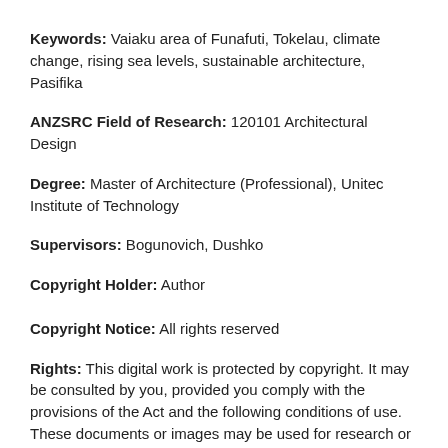Keywords: Vaiaku area of Funafuti, Tokelau, climate change, rising sea levels, sustainable architecture, Pasifika
ANZSRC Field of Research: 120101 Architectural Design
Degree: Master of Architecture (Professional), Unitec Institute of Technology
Supervisors: Bogunovich, Dushko
Copyright Holder: Author
Copyright Notice: All rights reserved
Rights: This digital work is protected by copyright. It may be consulted by you, provided you comply with the provisions of the Act and the following conditions of use. These documents or images may be used for research or private study purposes. Whether they can be used for any other purpose depends upon the